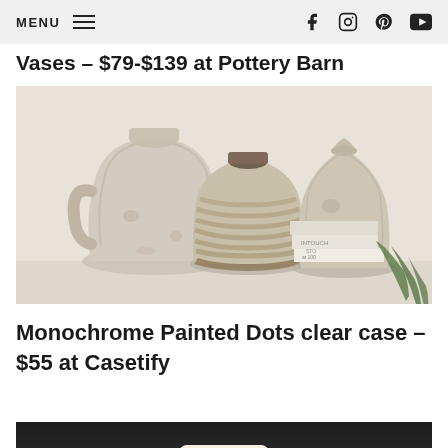MENU [hamburger] [facebook] [instagram] [pinterest] [youtube]
Vases – $79-$139 at Pottery Barn
[Figure (photo): Three rustic ceramic vases with a weathered, whitewashed finish arranged on a white surface with stacked books and a green plant in the background]
Monochrome Painted Dots clear case – $55 at Casetify
[Figure (photo): Partially visible phone case image on a dark background, showing a cream/beige colored item at the bottom]